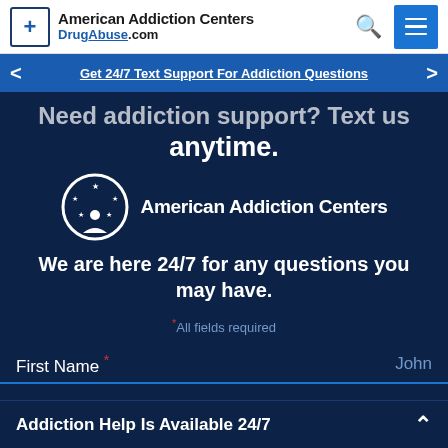[Figure (logo): American Addiction Centers logo with blue cross box and DrugAbuse.com subtitle]
Get 24/7 Text Support For Addiction Questions
Need addiction support? Text us anytime.
[Figure (logo): American Addiction Centers circular logo with stars and person silhouette, white on dark navy background]
We are here 24/7 for any questions you may have.
* All fields required
First Name * John
Addiction Help Is Available 24/7